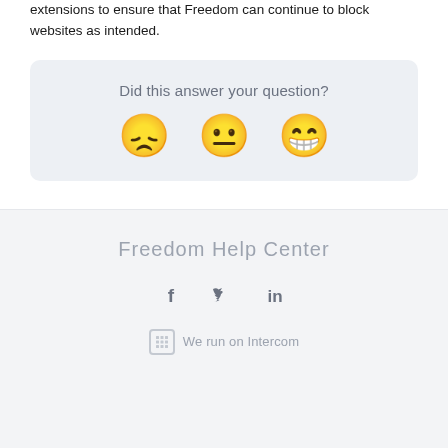extensions to ensure that Freedom can continue to block websites as intended.
Did this answer your question?
[Figure (infographic): Three emoji faces for feedback: disappointed face, neutral face, and grinning face with open mouth]
Freedom Help Center
[Figure (infographic): Social media icons: Facebook (f), Twitter (bird), LinkedIn (in)]
We run on Intercom